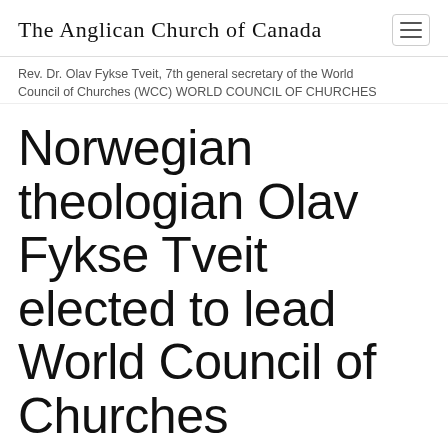The Anglican Church of Canada
Rev. Dr. Olav Fykse Tveit, 7th general secretary of the World Council of Churches (WCC) WORLD COUNCIL OF CHURCHES
Norwegian theologian Olav Fykse Tveit elected to lead World Council of Churches
BY GENERAL SYNOD COMMUNICATIONS ON AUGUST 27, 2009
Share this...